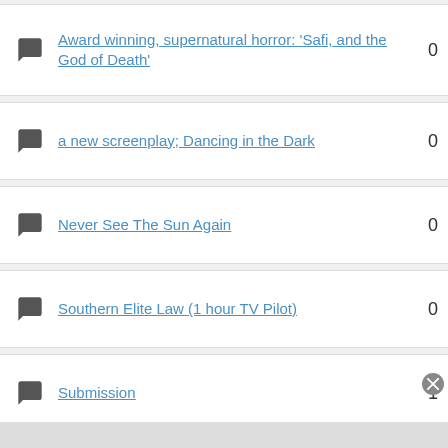Award winning, supernatural horror: 'Safi, and the God of Death'
a new screenplay; Dancing in the Dark
Never See The Sun Again
Southern Elite Law (1 hour TV Pilot)
Submission
Synopsis: Award-winning drama- It Happened in Silence